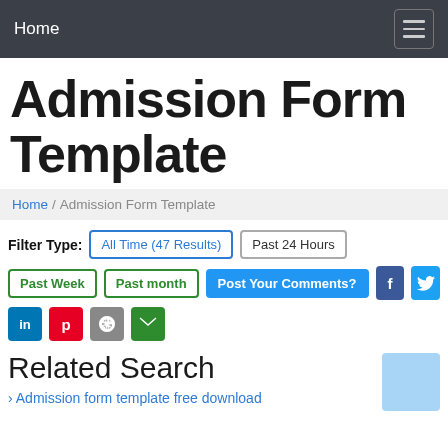Home
Admission Form Template
Home / Admission Form Template
Filter Type: All Time (47 Results) | Past 24 Hours | Past Week | Past month | Post Your Comments?
Related Search
Admission form template free download